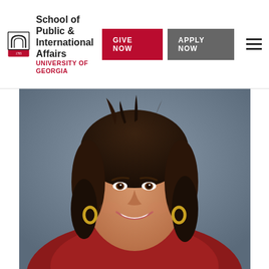School of Public & International Affairs
UNIVERSITY OF GEORGIA
[Figure (photo): Professional headshot of a young woman with dark curly hair, smiling broadly, wearing gold hoop earrings and a red jacket, photographed against a grey background.]